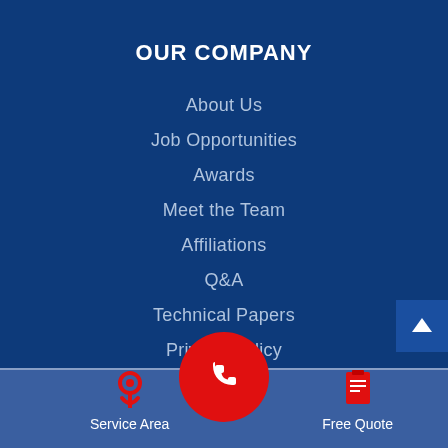OUR COMPANY
About Us
Job Opportunities
Awards
Meet the Team
Affiliations
Q&A
Technical Papers
Privacy Policy
Sitemap
[Figure (infographic): Red circular phone call button centered at bottom of navigation area, with a white telephone handset icon]
Service Area
Free Quote